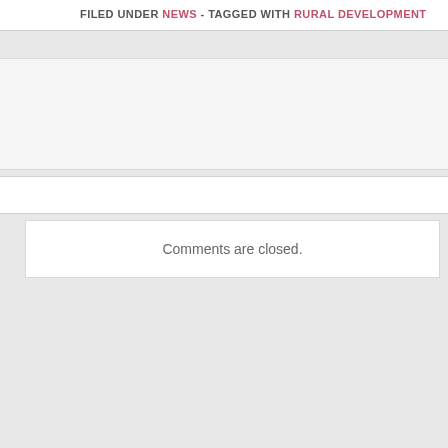FILED UNDER NEWS - TAGGED WITH RURAL DEVELOPMENT
Comments are closed.